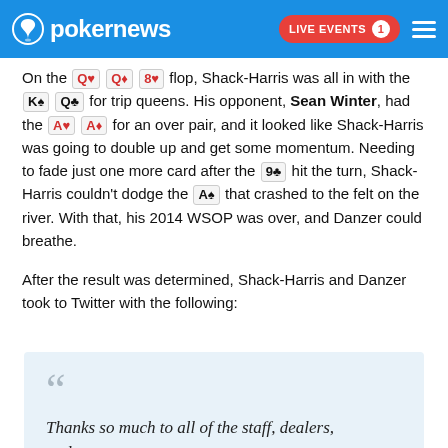pokernews — LIVE EVENTS 1
On the Q♥ Q♦ 8♥ flop, Shack-Harris was all in with the K♠ Q♣ for trip queens. His opponent, Sean Winter, had the A♥ A♦ for an over pair, and it looked like Shack-Harris was going to double up and get some momentum. Needing to fade just one more card after the 9♣ hit the turn, Shack-Harris couldn't dodge the A♠ that crashed to the felt on the river. With that, his 2014 WSOP was over, and Danzer could breathe.
After the result was determined, Shack-Harris and Danzer took to Twitter with the following:
Thanks so much to all of the staff, dealers, and...